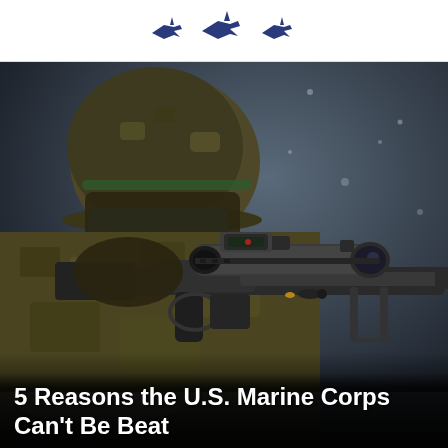Military website logo with aircraft silhouettes
[Figure (photo): A U.S. Marine in camouflage combat gear and helmet, aiming through the scope of a large sniper rifle with an attached red dot sight, in an outdoor winter/cold environment with a blurred dark background.]
5 Reasons the U.S. Marine Corps Can't Be Beat